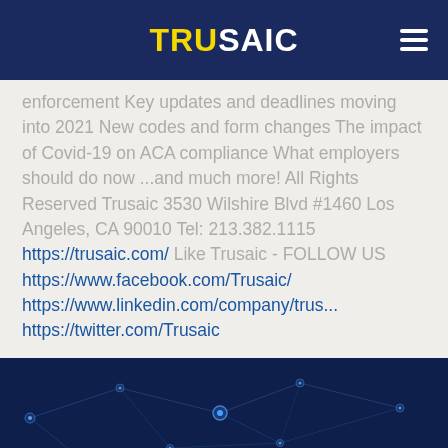TRUSAIC
enforcement Key updates and deadlines moving into 2021 New codes and form changes The impact of Covid-19 on ACA compliance What employers should do now ...and much more! All Rights Reserved Trusaic 3530 Wilshire Blvd #1460 Los Angeles, CA 90010 Tel: 213.382.1115 https://trusaic.com/ Like Trusaic - FOLLOW US https://www.facebook.com/Trusaic/ https://www.linkedin.com/company/trus... https://twitter.com/Trusaic
[Figure (illustration): Dark blue network/connectivity background image with glowing nodes and connecting lines]